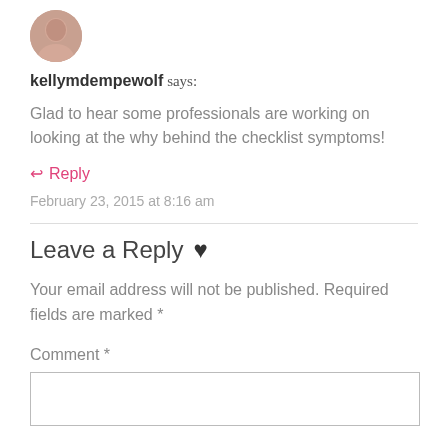[Figure (photo): Circular avatar photo of a person (kellymdempewolf), partially cropped at top]
kellymdempewolf says:
Glad to hear some professionals are working on looking at the why behind the checklist symptoms!
↩ Reply
February 23, 2015 at 8:16 am
Leave a Reply ♥
Your email address will not be published. Required fields are marked *
Comment *